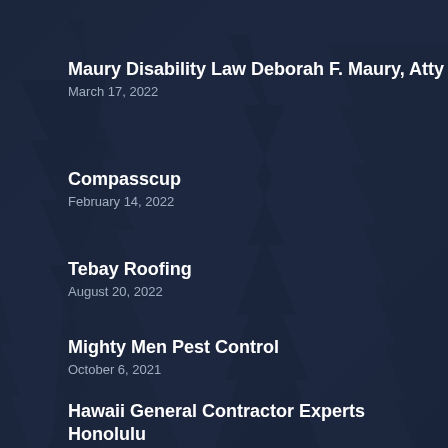Maury Disability Law Deborah F. Maury, Atty
March 17, 2022
Compasscup
February 14, 2022
Tebay Roofing
August 20, 2022
Mighty Men Pest Control
October 6, 2021
Hawaii General Contractor Experts Honolulu
December 20, 2021